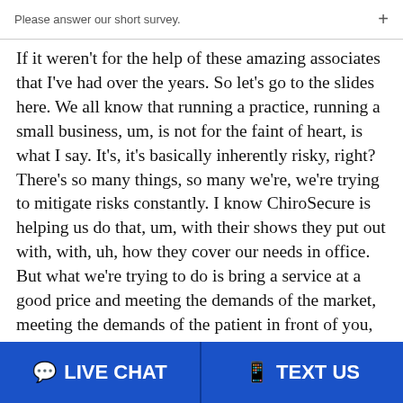Please answer our short survey.
If it weren't for the help of these amazing associates that I've had over the years. So let's go to the slides here. We all know that running a practice, running a small business, um, is not for the faint of heart, is what I say. It's, it's basically inherently risky, right? There's so many things, so many we're, we're trying to mitigate risks constantly. I know ChiroSecure is helping us do that, um, with their shows they put out with, with, uh, how they cover our needs in office. But what we're trying to do is bring a service at a good price and meeting the demands of the market, meeting the demands of the patient in front of you, uh, and also managing your staff and marketing, right? In addition to all this. So it's, it's
LIVE CHAT   TEXT US